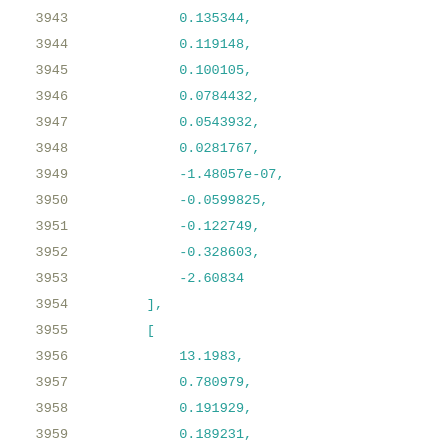3943    0.135344,
3944    0.119148,
3945    0.100105,
3946    0.0784432,
3947    0.0543932,
3948    0.0281767,
3949    -1.48057e-07,
3950    -0.0599825,
3951    -0.122749,
3952    -0.328603,
3953    -2.60834
3954    ],
3955    [
3956        13.1983,
3957        0.780979,
3958        0.191929,
3959        0.189231,
3960        0.186387,
3961        0.184882,
3962        0.183309,
3963        0.181655,